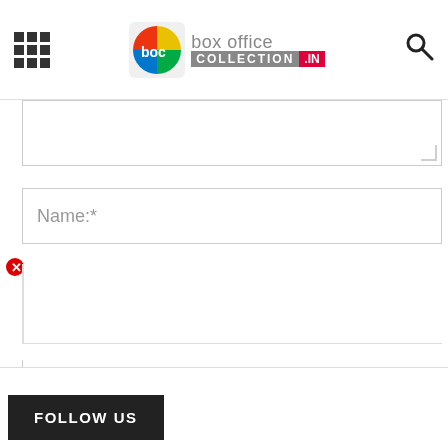[Figure (logo): Box Office Collection .IN logo with colorful boc icon, hamburger menu and search icon]
Name:*
(
(
FOLLOW US